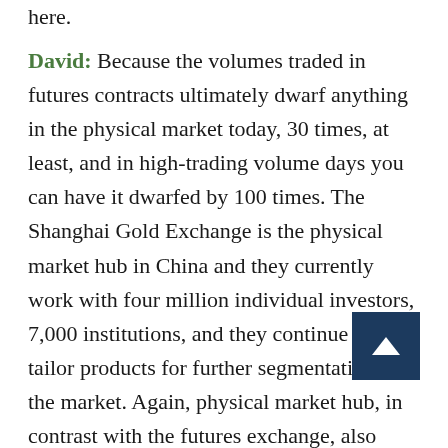here.
David: Because the volumes traded in futures contracts ultimately dwarf anything in the physical market today, 30 times, at least, and in high-trading volume days you can have it dwarfed by 100 times. The Shanghai Gold Exchange is the physical market hub in China and they currently work with four million individual investors, 7,000 institutions, and they continue to tailor products for further segmentation of the market. Again, physical market hub, in contrast with the futures exchange, also there in Shanghai. This is your primary distribution to jewelers, and this is what is really intriguing to me. Fourteen different ba... obviously primarily state-owned banks, with now over 100,000 branches distributing gold, both in physical formats and via gold-backed savings and deposit